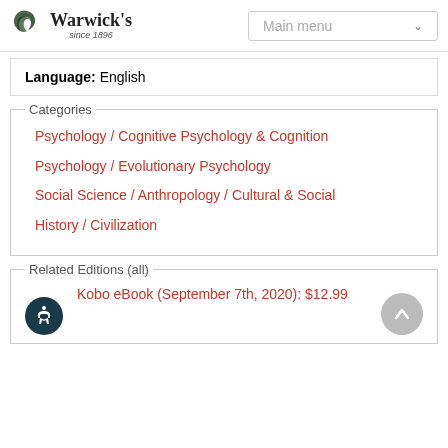Warwick's since 1896 | Main menu
Language: English
Categories
Psychology / Cognitive Psychology & Cognition
Psychology / Evolutionary Psychology
Social Science / Anthropology / Cultural & Social
History / Civilization
Related Editions (all)
Kobo eBook (September 7th, 2020): $12.99